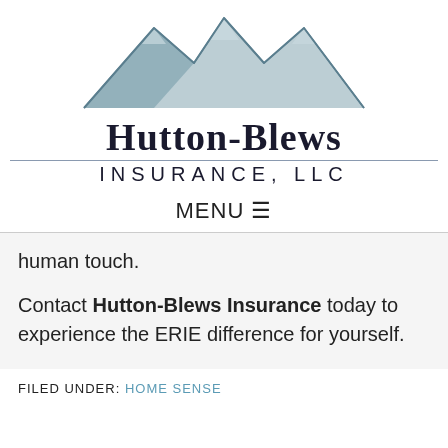[Figure (logo): Hutton-Blews Insurance LLC logo with mountain peaks graphic above the company name]
MENU☰
human touch.
Contact Hutton-Blews Insurance today to experience the ERIE difference for yourself.
FILED UNDER: HOME SENSE